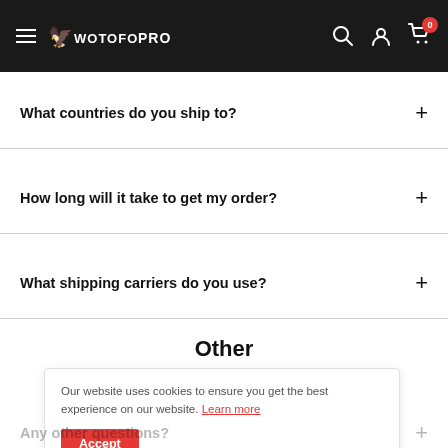Wotofo PRO — site navigation header with hamburger menu, logo, search, account, and cart icons
What countries do you ship to?
How long will it take to get my order?
What shipping carriers do you use?
Other
Our website uses cookies to ensure you get the best experience on our website. Learn more
Any other questions?